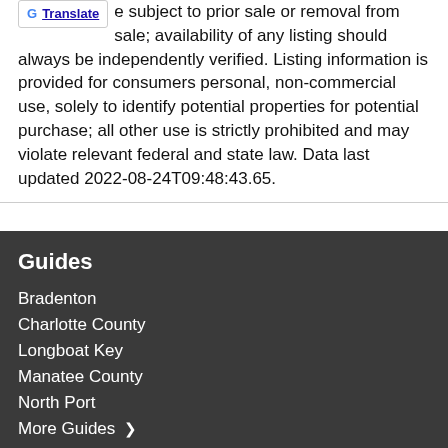e subject to prior sale or removal from sale; availability of any listing should always be independently verified. Listing information is provided for consumers personal, non-commercial use, solely to identify potential properties for potential purchase; all other use is strictly prohibited and may violate relevant federal and state law. Data last updated 2022-08-24T09:48:43.65.
Guides
Bradenton
Charlotte County
Longboat Key
Manatee County
North Port
More Guides >
Take a Tour
Ask A Question